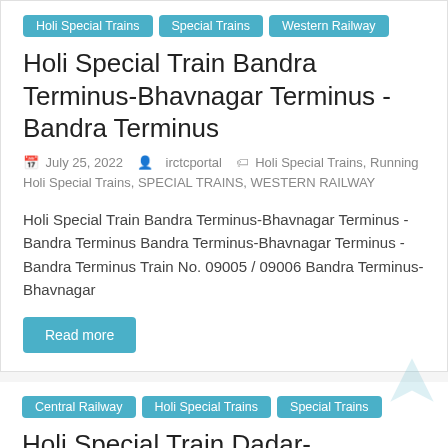Holi Special Trains
Special Trains
Western Railway
Holi Special Train Bandra Terminus-Bhavnagar Terminus -Bandra Terminus
July 25, 2022  irctcportal  Holi Special Trains, Running Holi Special Trains, SPECIAL TRAINS, WESTERN RAILWAY
Holi Special Train Bandra Terminus-Bhavnagar Terminus -Bandra Terminus Bandra Terminus-Bhavnagar Terminus -Bandra Terminus Train No. 09005 / 09006 Bandra Terminus-Bhavnagar
Read more
Central Railway
Holi Special Trains
Special Trains
Holi Special Train Dadar-Sawantwadi Road-Dadar